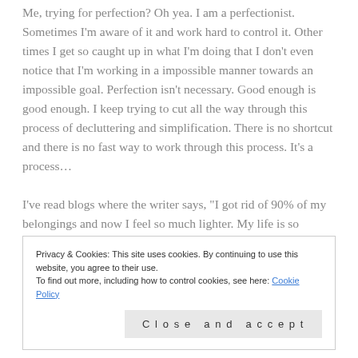Me, trying for perfection?  Oh yea.  I am a perfectionist.  Sometimes I'm aware of it and work hard to control it.  Other times I get so caught up in what I'm doing that I don't even notice that I'm working in a impossible manner towards an impossible goal.  Perfection isn't necessary.  Good enough is good enough.  I keep trying to cut all the way through this process of decluttering and simplification.  There is no shortcut and there is no fast way to work through this process.  It's a process...

I've read blogs where the writer says, "I got rid of 90% of my belongings and now I feel so much lighter.  My life is so
Privacy & Cookies: This site uses cookies. By continuing to use this website, you agree to their use.
To find out more, including how to control cookies, see here: Cookie Policy
Close and accept